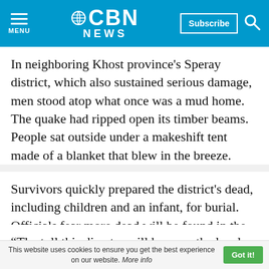CBN NEWS | Subscribe | MENU
In neighboring Khost province's Speray district, which also sustained serious damage, men stood atop what once was a mud home. The quake had ripped open its timber beams. People sat outside under a makeshift tent made of a blanket that blew in the breeze.
Survivors quickly prepared the district's dead, including children and an infant, for burial. Officials fear more dead will be found in the coming days.
“The toll this disaster will have on the local
This website uses cookies to ensure you get the best experience on our website. More info | Got it!